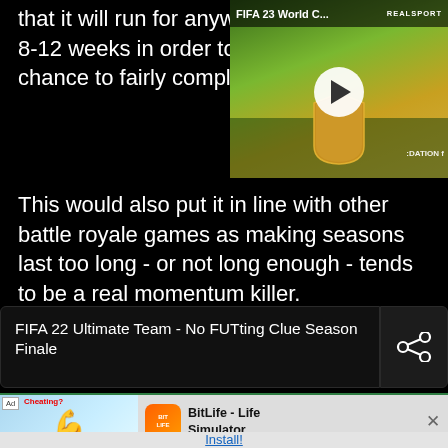that it will run for anywhere 8-12 weeks in order to give chance to fairly complete
[Figure (screenshot): FIFA 23 World Cup video thumbnail with play button overlay, showing a player and a FIFA card. Title bar reads 'FIFA 23 World C...' with REALSPORT badge.]
This would also put it in line with other battle royale games as making seasons last too long - or not long enough - tends to be a real momentum killer.
FIFA 22 Ultimate Team - No FUTting Clue Season Finale
[Figure (other): Ad banner for BitLife - Life Simulator app with flexed arm emoji, Cheating? text, Or creative winning? text, BitLife icon, app name, and Install button.]